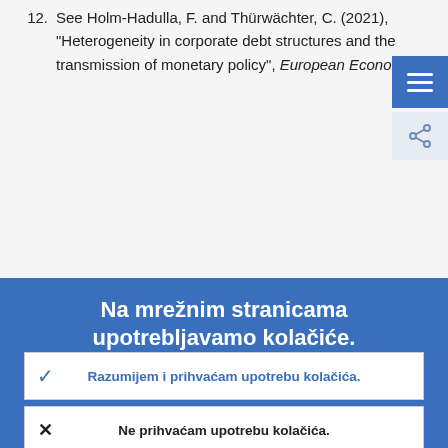12. See Holm-Hadulla, F. and Thürwächter, C. (2021), "Heterogeneity in corporate debt structures and the transmission of monetary policy", European Economic
Na mrežnim stranicama upotrebljavamo kolačiće.
Stalno poboljšavamo mrežne stranice za svoje korisnike. Pritom se služimo anonimnim podatcima koje smo dobili upotrebom kolačića.
Više o tome kako upotrebljavamo kolačiće
Razumijem i prihvaćam upotrebu kolačića.
Ne prihvaćam upotrebu kolačića.